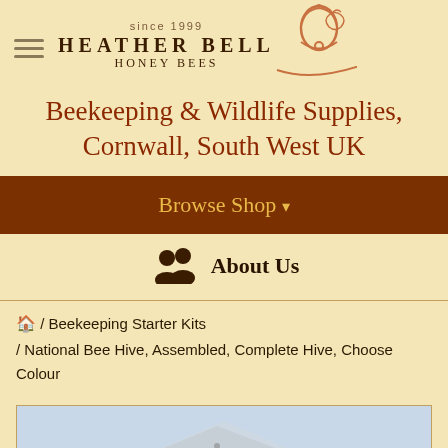[Figure (logo): Heather Bell Honey Bees logo with bell illustration and 'since 1999' text, hamburger menu icon on left]
Beekeeping & Wildlife Supplies, Cornwall, South West UK
Browse Shop ▾
About Us
/ Beekeeping Starter Kits / National Bee Hive, Assembled, Complete Hive, Choose Colour
[Figure (photo): Partial photo of a national bee hive assembled with blue/metallic panels visible at bottom of page]